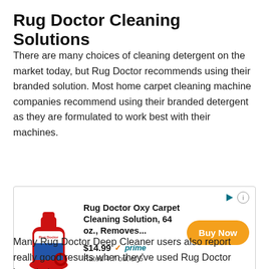Rug Doctor Cleaning Solutions
There are many choices of cleaning detergent on the market today, but Rug Doctor recommends using their branded solution. Most home carpet cleaning machine companies recommend using their branded detergent as they are formulated to work best with their machines.
[Figure (other): Advertisement box for Rug Doctor Oxy Carpet Cleaning Solution, 64 oz. Shows product bottle image, price $14.99 with Amazon Prime logo, rating 4.7 out of 5, and orange Buy Now button.]
Many Rug Doctor Deep Cleaner users also report really good results when they've used Rug Doctor branded